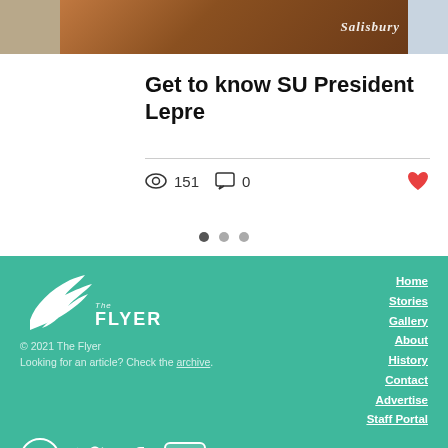[Figure (photo): Top banner with three partial images: left brick wall, center person at Salisbury University podium, right partial blue/white image]
Get to know SU President Lepre
151 views, 0 comments, like button
[Figure (other): Three pagination dots indicating carousel position]
[Figure (logo): The Flyer logo with bird illustration on teal footer background]
© 2021 The Flyer
Looking for an article? Check the archive.
Home
Stories
Gallery
About
History
Contact
Advertise
Staff Portal
[Figure (other): Social media icons: Instagram, Twitter, Facebook, YouTube]